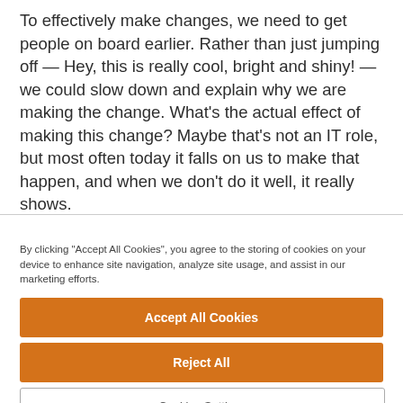To effectively make changes, we need to get people on board earlier. Rather than just jumping off — Hey, this is really cool, bright and shiny! — we could slow down and explain why we are making the change. What's the actual effect of making this change? Maybe that's not an IT role, but most often today it falls on us to make that happen, and when we don't do it well, it really shows.
By clicking "Accept All Cookies", you agree to the storing of cookies on your device to enhance site navigation, analyze site usage, and assist in our marketing efforts.
Accept All Cookies
Reject All
Cookies Settings